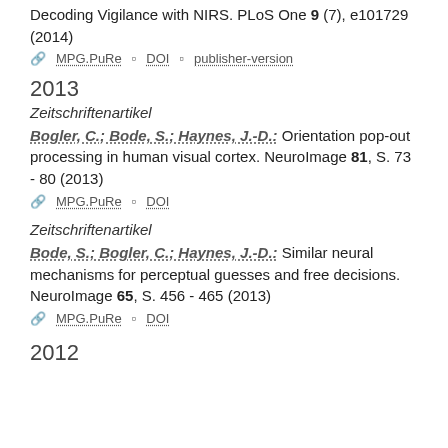Decoding Vigilance with NIRS. PLoS One 9 (7), e101729 (2014)
MPG.PuRe | DOI | publisher-version
2013
Zeitschriftenartikel
Bogler, C.; Bode, S.; Haynes, J.-D.: Orientation pop-out processing in human visual cortex. NeuroImage 81, S. 73 - 80 (2013)
MPG.PuRe | DOI
Zeitschriftenartikel
Bode, S.; Bogler, C.; Haynes, J.-D.: Similar neural mechanisms for perceptual guesses and free decisions. NeuroImage 65, S. 456 - 465 (2013)
MPG.PuRe | DOI
2012